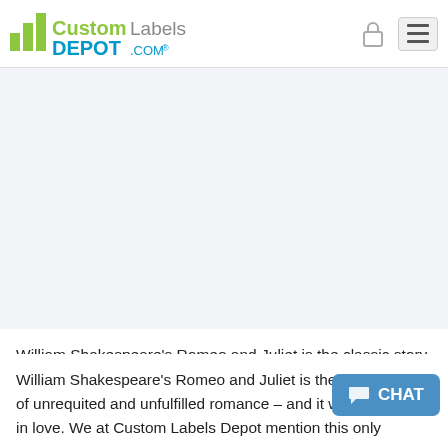[Figure (logo): Custom Labels Depot .com logo with green and gray bar chart icon]
William Shakespeare's Romeo and Juliet is the classic story of unrequited and unfulfilled romance – and it w... in love. We at Custom Labels Depot mention this only